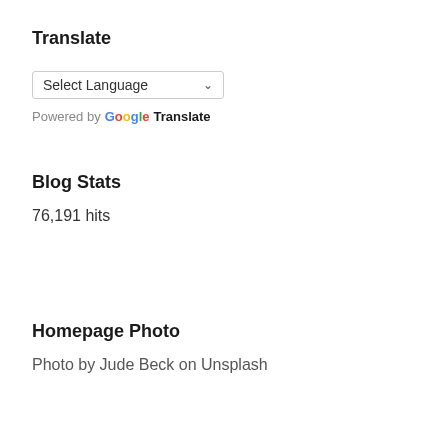Translate
[Figure (screenshot): Google Translate language selector widget with a dropdown labeled 'Select Language' and 'Powered by Google Translate' text below]
Blog Stats
76,191 hits
Homepage Photo
Photo by Jude Beck on Unsplash